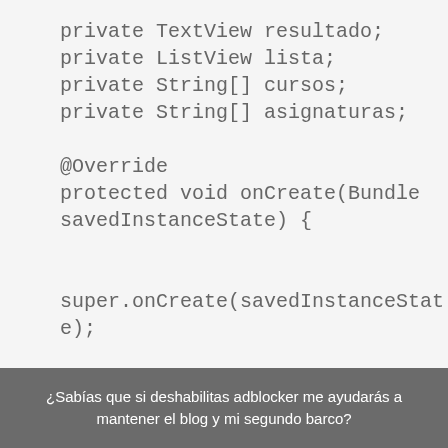private TextView resultado;
private ListView lista;
private String[] cursos;
private String[] asignaturas;

@Override
protected void onCreate(Bundle
savedInstanceState) {


super.onCreate(savedInstanceState);


setContentView(R.layout.activity_lis
tas);
        resultado =
¿Sabías que si deshabilitas adblocker me ayudarás a mantener el blog y mi segundo barco?